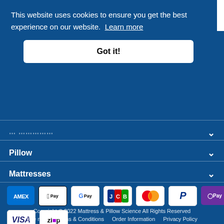This website uses cookies to ensure you get the best experience on our website. Learn more
Got it!
Pillow
Mattresses
[Figure (other): Payment method icons: AMEX, Apple Pay, Google Pay, JCB, Mastercard, PayPal, OPay, VISA, Zip]
Copyright © 2022 Mattress & Pillow Science All Rights Reserved
Site map   Terms & Conditions   Order Information   Privacy Policy